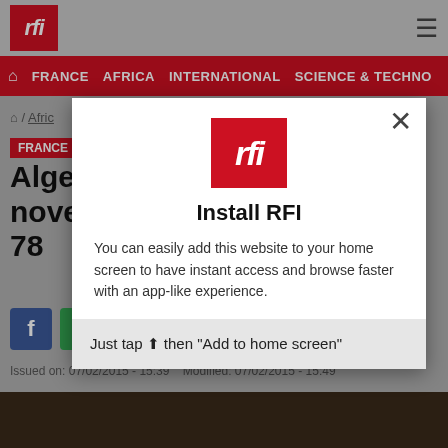[Figure (screenshot): RFI website screenshot showing navigation bar with FRANCE, AFRICA, INTERNATIONAL, SCIENCE & TECHNO links on red background, breadcrumb, article title partially visible 'Alge... nove... aged 78', social share icons, and date line]
[Figure (screenshot): Modal popup overlay on RFI website: RFI logo, title 'Install RFI', body text 'You can easily add this website to your home screen to have instant access and browse faster with an app-like experience.', footer 'Just tap then Add to home screen', close button X]
Install RFI
You can easily add this website to your home screen to have instant access and browse faster with an app-like experience.
Just tap then "Add to home screen"
Issued on: 07/02/2015 - 15:39   Modified: 07/02/2015 - 15:49